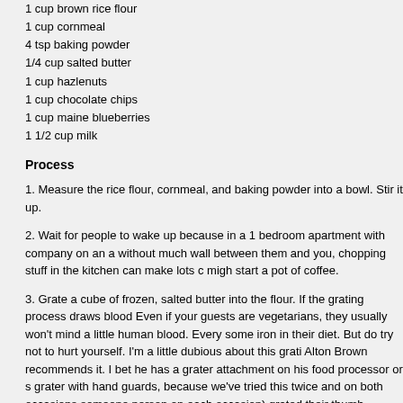1 cup brown rice flour
1 cup cornmeal
4 tsp baking powder
1/4 cup salted butter
1 cup hazlenuts
1 cup chocolate chips
1 cup maine blueberries
1 1/2 cup milk
Process
1. Measure the rice flour, cornmeal, and baking powder into a bowl. Stir it up.
2. Wait for people to wake up because in a 1 bedroom apartment with company on an a without much wall between them and you, chopping stuff in the kitchen can make lots c migh start a pot of coffee.
3. Grate a cube of frozen, salted butter into the flour. If the grating process draws blood Even if your guests are vegetarians, they usually won't mind a little human blood. Every some iron in their diet. But do try not to hurt yourself. I'm a little dubious about this grati Alton Brown recommends it. I bet he has a grater attachment on his food processor or s grater with hand guards, because we've tried this twice and on both occasions someone person on each occasion) grated their thumb knuckle, which doesn't seem to happen w grating butter. You might just use a fork, even if it takes longer. You do want the butter t solid, as one of the things that makes biscuits fluffy is the melting of butter as the biscu
4. Chop hazlenuts. If I were in a city with the right stores, I'd use 3/4 cup of hazlenut flo chop it pretty fine. Add it to the bowl.
5. Chop chocolate chips. Why? Because we get the ghirardelli’s 60% cocoa chocolate c are pretty large as chocolate chips go. Again, if we were in a city with the right stores, w with a higher percentage of cocoa mass and it would be very quick and easy to shave. the bowl also.